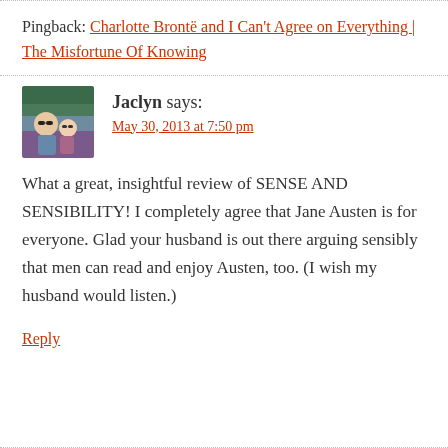Pingback: Charlotte Brontë and I Can't Agree on Everything | The Misfortune Of Knowing
Jaclyn says: May 30, 2013 at 7:50 pm
[Figure (photo): Avatar photo of Jaclyn showing two people wearing sunglasses outdoors]
What a great, insightful review of SENSE AND SENSIBILITY! I completely agree that Jane Austen is for everyone. Glad your husband is out there arguing sensibly that men can read and enjoy Austen, too. (I wish my husband would listen.)
Reply